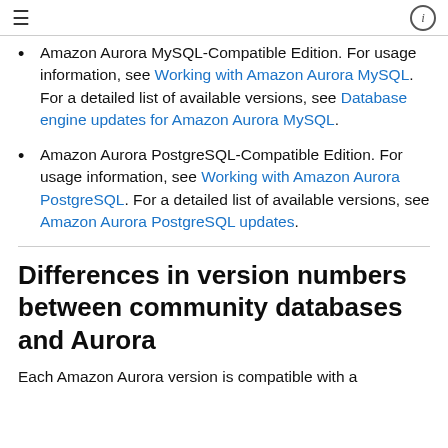≡  ⓘ
Amazon Aurora MySQL-Compatible Edition. For usage information, see Working with Amazon Aurora MySQL. For a detailed list of available versions, see Database engine updates for Amazon Aurora MySQL.
Amazon Aurora PostgreSQL-Compatible Edition. For usage information, see Working with Amazon Aurora PostgreSQL. For a detailed list of available versions, see Amazon Aurora PostgreSQL updates.
Differences in version numbers between community databases and Aurora
Each Amazon Aurora version is compatible with a